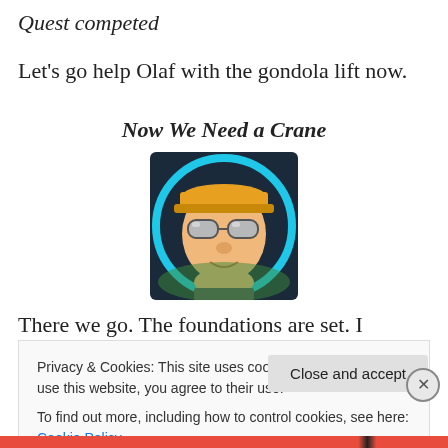Quest competed
Let's go help Olaf with the gondola lift now.
Now We Need a Crane
[Figure (illustration): Animated character avatar with yellow cap and sunglasses inside a teal circular border]
There we go. The foundations are set. I realized last night
Privacy & Cookies: This site uses cookies. By continuing to use this website, you agree to their use.
To find out more, including how to control cookies, see here: Cookie Policy
Close and accept